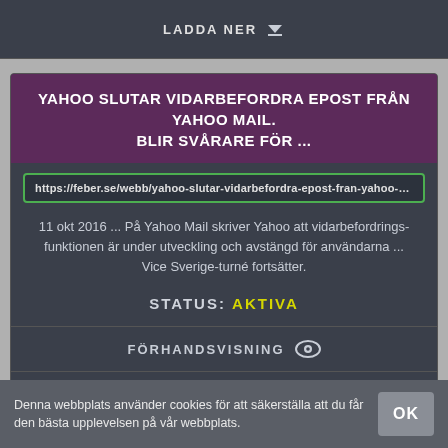LADDA NER
YAHOO SLUTAR VIDARBEFORDRA EPOST FRÅN YAHOO MAIL. BLIR SVÅRARE FÖR ...
https://feber.se/webb/yahoo-slutar-vidarbefordra-epost-fran-yahoo-mai
11 okt 2016 ... På Yahoo Mail skriver Yahoo att vidarbefordrings-funktionen är under utveckling och avstängd för användarna ... Vice Sverige-turné fortsätter.
STATUS: AKTIVA
FÖRHANDSVISNING
LADDA NER
Denna webbplats använder cookies för att säkerställa att du får den bästa upplevelsen på vår webbplats.